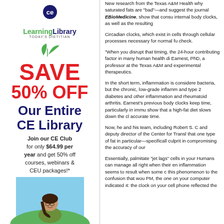[Figure (illustration): CE Learning Library advertisement banner. Logo with green leaves, 'SAVE 50% OFF Our Entire CE Library' in red and dark blue. Join our CE Club for only $64.99 per year and get 50% off courses, webinars & CEU packages!* with photo of a smiling woman outdoors.]
New research from the Texas A&M Health why saturated fats are "bad"—and suggest the journal EBioMedicine, show that consu internal body clocks, as well as the resulting
Circadian clocks, which exist in cells through cellular processes necessary for normal fu check.
"When you disrupt that timing, the 24-hour contributing factor in many human health di Earnest, PhD, a professor at the Texas A&M and experimental therapeutics.
In the short term, inflammation is considere bacteria, but the chronic, low-grade inflamm and type 2 diabetes and other inflammation and rheumatoid arthritis. Earnest's previous body clocks keep time, particularly in immu show that a high-fat diet slows down the cl accurate time.
Now, he and his team, including Robert S. C and deputy director of the Center for Transl that one type of fat in particular—specificall culprit in compromising the accuracy of our
Essentially, palmitate "jet lags" cells in your Humans can manage all right when their en inflammation seems to result when some c this phenomenon to the confusion that wou PM, the one on your computer indicated 4: the clock on your cell phone reflected the